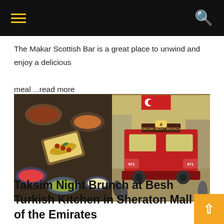Navigation bar with hamburger menu and search icon
The Makar Scottish Bar is a great place to unwind and enjoy a delicious meal ...read more
[Figure (photo): Two side-by-side photos: left shows an overhead view of various Turkish food dishes on a dark table, right shows a red Istanbul tram on a busy pedestrian street with Turkish flags and a sign reading 'Taksim Night Brunch']
Taksim Night Brunch at Besh Turkish Kitchen in Sheraton Mall of the Emirates